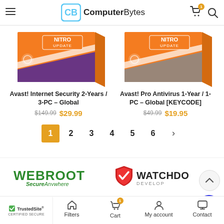ComputerBytes
[Figure (photo): Avast Internet Security 2-Years / 3-PC Global product box - orange with purple stripe and NITRO UPDATE label]
Avast! Internet Security 2-Years / 3-PC – Global
$149.99  $29.99
[Figure (photo): Avast Pro Antivirus 1-Year / 1-PC Global [KEYCODE] product box - orange with gray stripe and NITRO UPDATE label]
Avast! Pro Antivirus 1-Year / 1-PC – Global [KEYCODE]
$49.99  $19.95
Pagination: 1 (active), 2, 3, 4, 5, 6, >
[Figure (logo): Webroot SecureAnywhere logo]
[Figure (logo): Watchdog Develop logo with red shield and checkmark]
Filters  Cart  My account  Contact